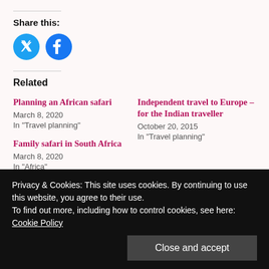Share this:
[Figure (illustration): Twitter and Facebook circular share icons in blue]
Related
Planning an African safari
March 8, 2020
In "Travel planning"
Independent travel to Europe – for the Indian traveller
October 20, 2015
In "Travel planning"
Family safari in South Africa
March 8, 2020
In "Africa"
Privacy & Cookies: This site uses cookies. By continuing to use this website, you agree to their use.
To find out more, including how to control cookies, see here: Cookie Policy